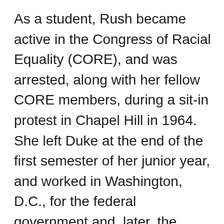As a student, Rush became active in the Congress of Racial Equality (CORE), and was arrested, along with her fellow CORE members, during a sit-in protest in Chapel Hill in 1964. She left Duke at the end of the first semester of her junior year, and worked in Washington, D.C., for the federal government and, later, the Navy.  While working at the Federal Reserve, she was granted an employee scholarship to continue her studies. She earned her bachelor's degree in economics from Philadelphia's Chestnut Hill College in 1979 and worked for Southern New England Telephone in New Haven, Conn. Rush died in